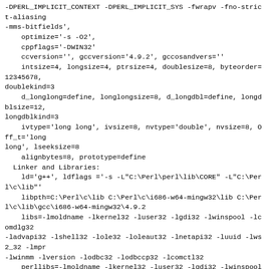-DPERL_IMPLICIT_CONTEXT -DPERL_IMPLICIT_SYS -fwrapv -fno-strict-aliasing
-mms-bitfields',
    optimize='-s -O2',
    cppflags='-DWIN32'
    ccversion='', gccversion='4.9.2', gccosandvers=''
    intsize=4, longsize=4, ptrsize=4, doublesize=8, byteorder=12345678,
doublekind=3
    d_longlong=define, longlongsize=8, d_longdbl=define, longdblsize=12,
longdblkind=3
    ivtype='long long', ivsize=8, nvtype='double', nvsize=8, Off_t='long
long', lseeksize=8
    alignbytes=8, prototype=define
  Linker and Libraries:
    ld='g++', ldflags ='-s -L"C:\Perl\perl\lib\CORE" -L"C:\Perl\c\lib"'
    libpth=C:\Perl\c\lib C:\Perl\c\i686-w64-mingw32\lib C:\Perl\c\lib\gcc\i686-w64-mingw32\4.9.2
    libs=-lmoldname -lkernel32 -luser32 -lgdi32 -lwinspool -lcomdlg32
-ladvapi32 -lshell32 -lole32 -loleaut32 -lnetapi32 -luuid -lws2_32 -lmpr
-lwinmm -lversion -lodbc32 -lodbccp32 -lcomctl32
    perllibs=-lmoldname -lkernel32 -luser32 -lgdi32 -lwinspool -lcomdlg32
-ladvapi32 -lshell32 -lole32 -loleaut32 -lnetapi32 -luuid -lws2_32 -lmpr
-lwinmm -lversion -lodbc32 -lodbccp32 -lcomctl32
    libc=, so=dll, useshrplib=true, libperl=libperl524.a